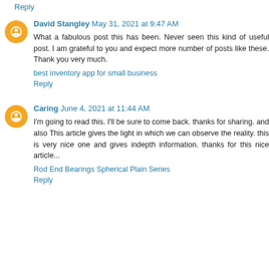Reply
David Stangley  May 31, 2021 at 9:47 AM
What a fabulous post this has been. Never seen this kind of useful post. I am grateful to you and expect more number of posts like these. Thank you very much.
best inventory app for small business
Reply
Caring  June 4, 2021 at 11:44 AM
I'm going to read this. I'll be sure to come back. thanks for sharing. and also This article gives the light in which we can observe the reality. this is very nice one and gives indepth information. thanks for this nice article...
Rod End Bearings Spherical Plain Series
Reply